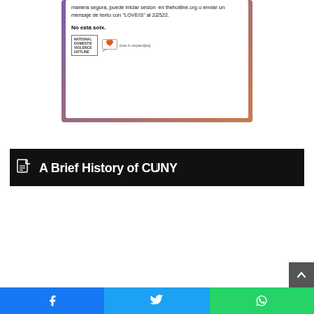[Figure (other): Card with gradient purple-to-orange border. Spanish text reads: 'manera segura, puede iniciar sesión en thehotline.org o enviar un mensaje de texto con "LOVEIS" al 22522.' Then 'No está solx.' followed by National Domestic Violence Hotline and love is respect org logos.]
A Brief History of CUNY
Facebook | Twitter | WhatsApp